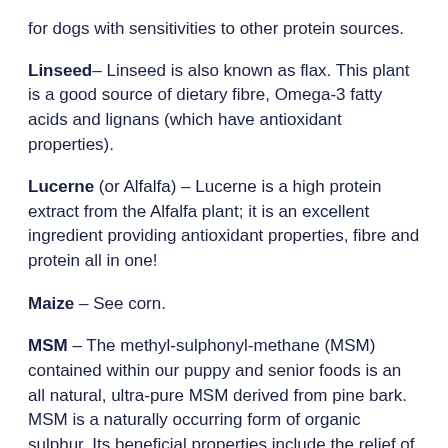for dogs with sensitivities to other protein sources.
Linseed – Linseed is also known as flax. This plant is a good source of dietary fibre, Omega-3 fatty acids and lignans (which have antioxidant properties).
Lucerne (or Alfalfa) – Lucerne is a high protein extract from the Alfalfa plant; it is an excellent ingredient providing antioxidant properties, fibre and protein all in one!
Maize – See corn.
MSM – The methyl-sulphonyl-methane (MSM) contained within our puppy and senior foods is an all natural, ultra-pure MSM derived from pine bark. MSM is a naturally occurring form of organic sulphur. Its beneficial properties include the relief of pain and inflammation. It is also thought that MSM may improve mental alertness and relieve stress.
Oats – Oats are added to our recipes as they are an excellent source of fibre and energy. Oats are very high in starch and